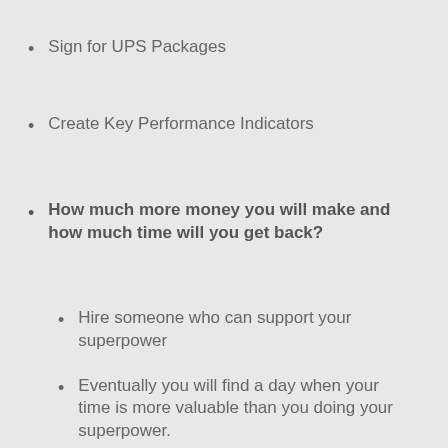Sign for UPS Packages
Create Key Performance Indicators
How much more money you will make and how much time will you get back?
Hire someone who can support your superpower
Eventually you will find a day when your time is more valuable than you doing your superpower.